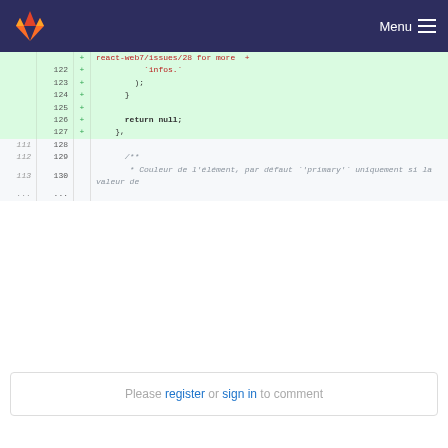GitLab — Menu
[Figure (screenshot): Code diff view showing lines 122-130 with added lines (green background) containing return null and }, plus normal lines with a JSDoc comment in French about Couleur de l'élément]
Please register or sign in to comment